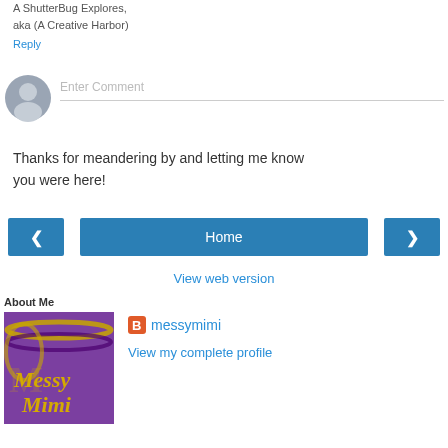A ShutterBug Explores, aka (A Creative Harbor)
Reply
[Figure (other): User avatar placeholder icon — grey circle with silhouette figure]
Enter Comment
Thanks for meandering by and letting me know you were here!
< Home >
View web version
About Me
[Figure (photo): Profile image for messymimi: purple background with gold Mardi Gras beads and text 'Messy Mimi']
messymimi
View my complete profile